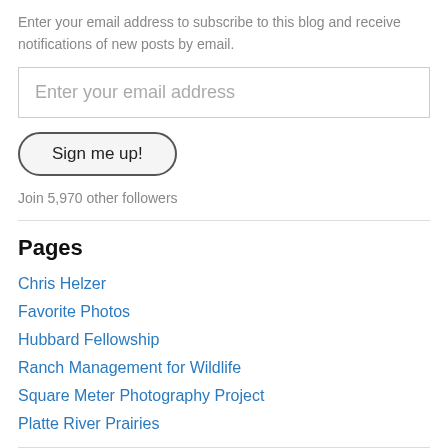Enter your email address to subscribe to this blog and receive notifications of new posts by email.
Enter your email address
Sign me up!
Join 5,970 other followers
Pages
Chris Helzer
Favorite Photos
Hubbard Fellowship
Ranch Management for Wildlife
Square Meter Photography Project
Platte River Prairies